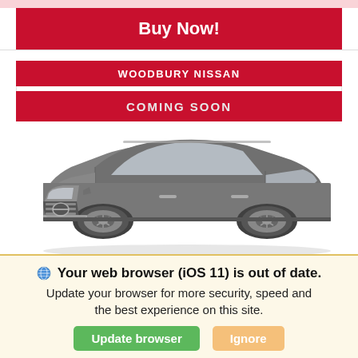Buy Now!
WOODBURY NISSAN
COMING SOON
[Figure (photo): Gray Nissan SUV (Rogue) shown in a three-quarter front view against a white background, displayed inside the dealer listing area]
Your web browser (iOS 11) is out of date. Update your browser for more security, speed and the best experience on this site.
Update browser
Ignore